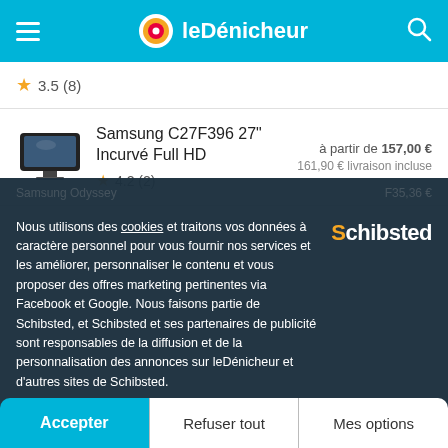leDénicheur
3.5 (8)
Samsung C27F396 27" Incurvé Full HD
4.2 (2)
à partir de 157,00 €
161,90 € livraison incluse
Nous utilisons des cookies et traitons vos données à caractère personnel pour vous fournir nos services et les améliorer, personnaliser le contenu et vous proposer des offres marketing pertinentes via Facebook et Google. Nous faisons partie de Schibsted, et Schibsted et ses partenaires de publicité sont responsables de la diffusion et de la personnalisation des annonces sur leDénicheur et d'autres sites de Schibsted.
Accepter | Refuser tout | Mes options